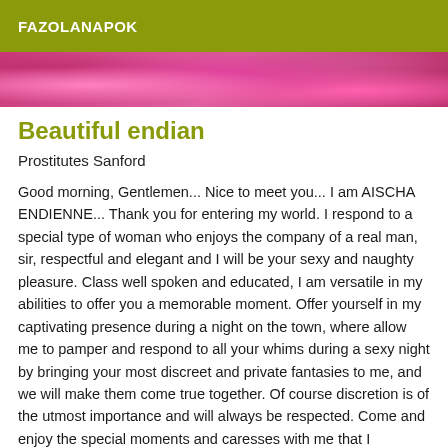FAZOLANAPOK
[Figure (photo): Partial view of pink flowers, cropped image strip at top of article]
Beautiful endian
Prostitutes Sanford
Good morning, Gentlemen... Nice to meet you... I am AISCHA ENDIENNE... Thank you for entering my world. I respond to a special type of woman who enjoys the company of a real man, sir, respectful and elegant and I will be your sexy and naughty pleasure. Class well spoken and educated, I am versatile in my abilities to offer you a memorable moment. Offer yourself in my captivating presence during a night on the town, where allow me to pamper and respond to all your whims during a sexy night by bringing your most discreet and private fantasies to me, and we will make them come true together. Of course discretion is of the utmost importance and will always be respected. Come and enjoy the special moments and caresses with me that I